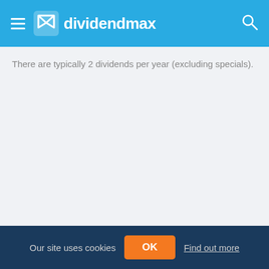dividendmax
There are typically 2 dividends per year (excluding specials).
Our site uses cookies  OK  Find out more